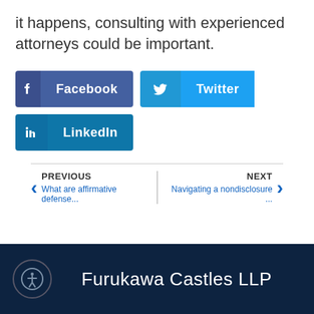it happens, consulting with experienced attorneys could be important.
[Figure (infographic): Social share buttons: Facebook (dark blue), Twitter (light blue), LinkedIn (blue)]
PREVIOUS What are affirmative defense...
NEXT Navigating a nondisclosure ...
Furukawa Castles LLP